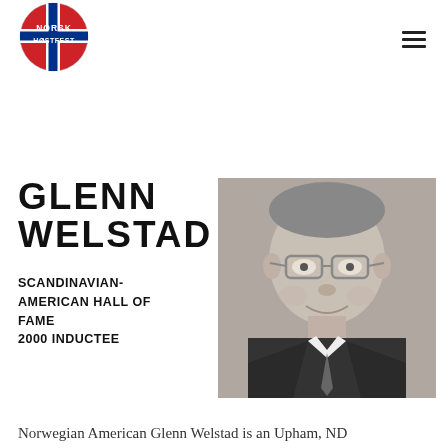[Figure (logo): Norsk Høstfest logo — circular design with Norwegian flag colors (red, white, blue), text NORSK HØSTFEST]
GLENN WELSTAD
SCANDINAVIAN-AMERICAN HALL OF FAME
2000 INDUCTEE
[Figure (photo): Black and white portrait photo of Glenn Welstad, an older man wearing glasses and a suit with a tie, smiling]
Norwegian American Glenn Welstad is an Upham, ND